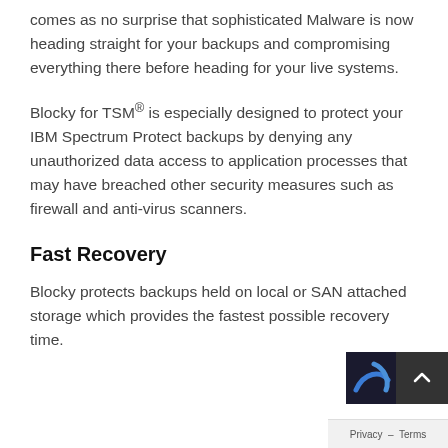comes as no surprise that sophisticated Malware is now heading straight for your backups and compromising everything there before heading for your live systems.
Blocky for TSM® is especially designed to protect your IBM Spectrum Protect backups by denying any unauthorized data access to application processes that may have breached other security measures such as firewall and anti-virus scanners.
Fast Recovery
Blocky protects backups held on local or SAN attached storage which provides the fastest possible recovery time.